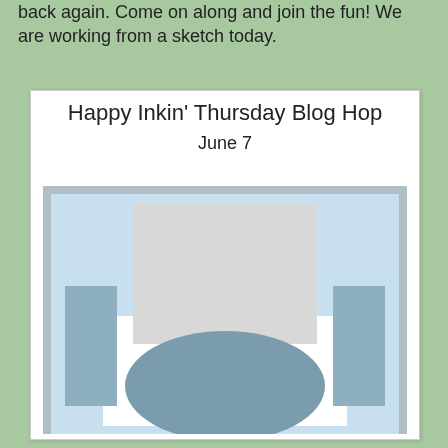back again. Come on along and join the fun! We are working from a sketch today.
[Figure (illustration): Happy Inkin' Thursday Blog Hop card sketch layout diagram for June 7, showing a card template with a light blue background, a large light gray rectangle at the top center, two medium gray/blue vertical rectangles on the left and right sides, and a large gray-blue oval shape at the bottom center overlapping the white lower portion.]